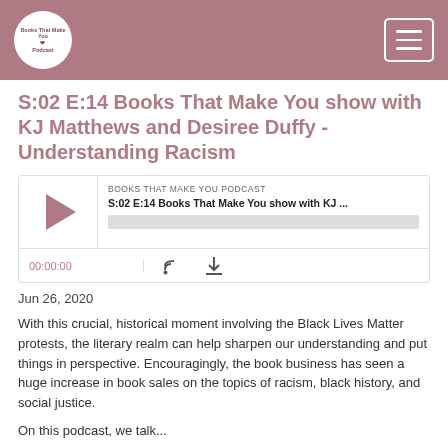Books That Make You Podcast - header navigation
S:02 E:14 Books That Make You show with KJ Matthews and Desiree Duffy - Understanding Racism
[Figure (screenshot): Podcast audio player widget showing episode title 'S:02 E:14 Books That Make You show with KJ ...' with play button, progress bar, time display 00:00:00, RSS and download icons]
Jun 26, 2020
With this crucial, historical moment involving the Black Lives Matter protests, the literary realm can help sharpen our understanding and put things in perspective. Encouragingly, the book business has seen a huge increase in book sales on the topics of racism, black history, and social justice.
On this podcast, we talk...
Read More